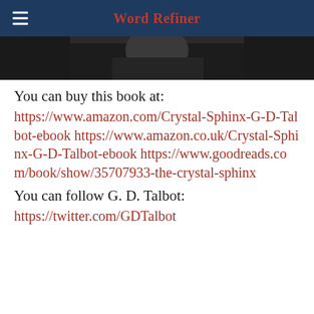Word Refiner
[Figure (photo): Partial view of a book cover photograph showing a person, dark tones]
You can buy this book at:
https://www.amazon.com/Crystal-Sphinx-G-D-Talbot-ebook https://www.amazon.co.uk/Crystal-Sphinx-G-D-Talbot-ebook https://www.goodreads.com/book/show/35707933-the-crystal-sphinx
You can follow G. D. Talbot:
https://twitter.com/GDTalbot